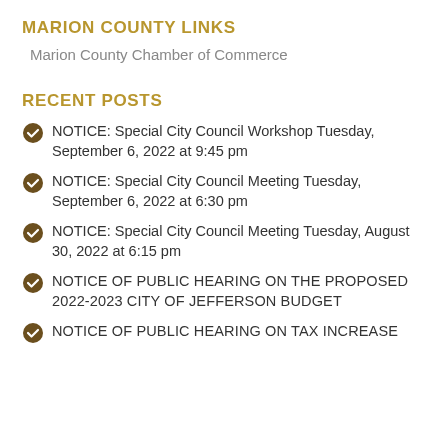MARION COUNTY LINKS
Marion County Chamber of Commerce
RECENT POSTS
NOTICE: Special City Council Workshop Tuesday, September 6, 2022 at 9:45 pm
NOTICE: Special City Council Meeting Tuesday, September 6, 2022 at 6:30 pm
NOTICE: Special City Council Meeting Tuesday, August 30, 2022 at 6:15 pm
NOTICE OF PUBLIC HEARING ON THE PROPOSED 2022-2023 CITY OF JEFFERSON BUDGET
NOTICE OF PUBLIC HEARING ON TAX INCREASE